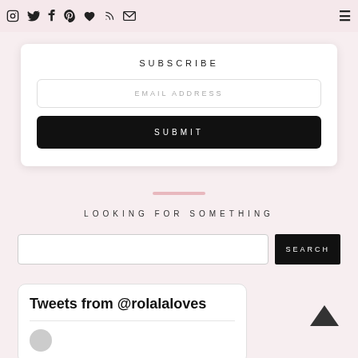Social media icons and hamburger menu
SUBSCRIBE
EMAIL ADDRESS
SUBMIT
LOOKING FOR SOMETHING
SEARCH
Tweets from @rolalaloves